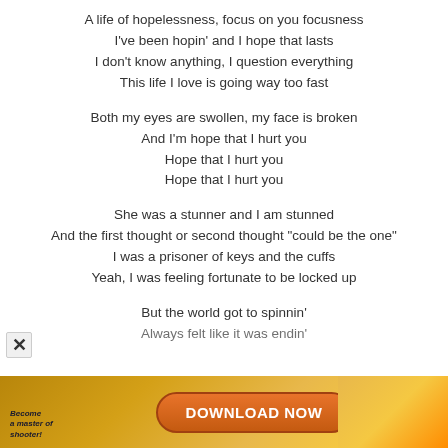A life of hopelessness, focus on you focusness
I've been hopin' and I hope that lasts
I don't know anything, I question everything
This life I love is going way too fast
Both my eyes are swollen, my face is broken
And I'm hope that I hurt you
Hope that I hurt you
Hope that I hurt you
She was a stunner and I am stunned
And the first thought or second thought "could be the one"
I was a prisoner of keys and the cuffs
Yeah, I was feeling fortunate to be locked up
But the world got to spinnin'
Always felt like it was endin'